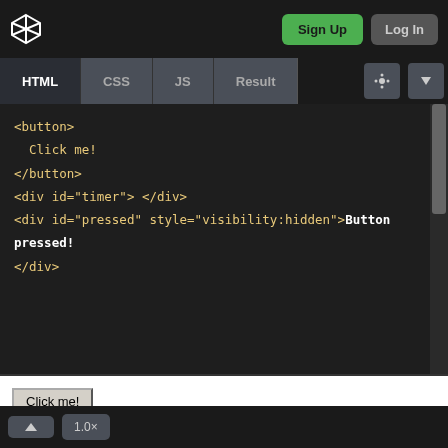CodePen interface — Sign Up / Log In navigation bar
[Figure (screenshot): CodePen editor UI showing HTML tab selected with code editor displaying button HTML, and a preview pane below showing a rendered 'Click me!' button]
<button>
  Click me!
</button>
<div id="timer"> </div>
<div id="pressed" style="visibility:hidden">Button pressed!
</div>
^ 1.0×